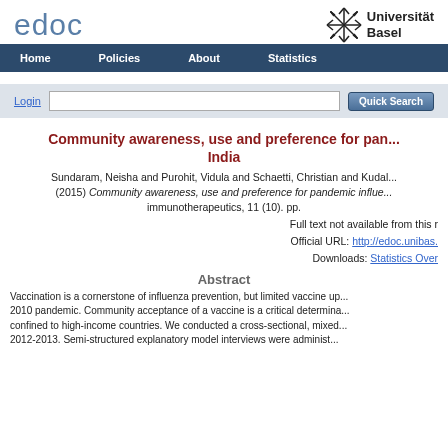edoc
[Figure (logo): Universität Basel snowflake logo with text 'Universität Basel']
Home  Policies  About  Statistics
Login  [search box]  Quick Search
Community awareness, use and preference for pandemic influenza vaccines in India
Sundaram, Neisha and Purohit, Vidula and Schaetti, Christian and Kudal... (2015) Community awareness, use and preference for pandemic influenza... immunotherapeutics, 11 (10). pp.
Full text not available from this r
Official URL: http://edoc.unibas.
Downloads: Statistics Over
Abstract
Vaccination is a cornerstone of influenza prevention, but limited vaccine up... 2010 pandemic. Community acceptance of a vaccine is a critical determina... confined to high-income countries. We conducted a cross-sectional, mixed... 2012-2013. Semi-structured explanatory model interviews were administ...